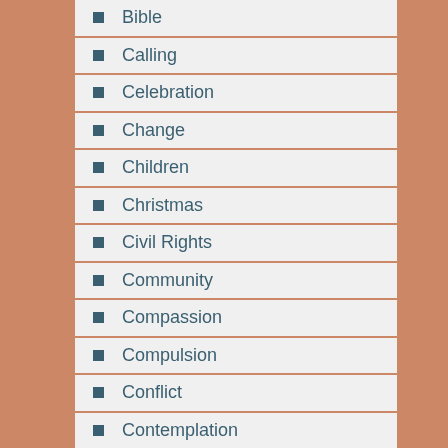Bible
Calling
Celebration
Change
Children
Christmas
Civil Rights
Community
Compassion
Compulsion
Conflict
Contemplation